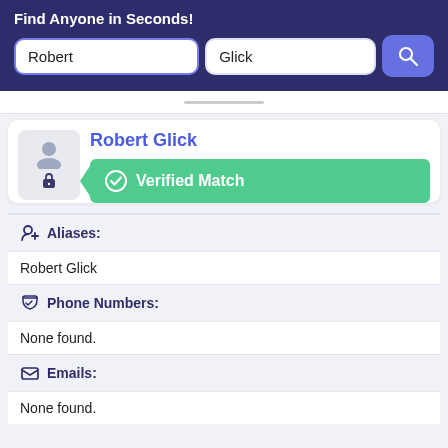Find Anyone in Seconds!
[Figure (screenshot): Search interface with two text inputs ('Robert' and 'Glick') and a blue search button with magnifying glass icon]
Robert Glick
Verified Match
Aliases:
Robert Glick
Phone Numbers:
None found.
Emails:
None found.